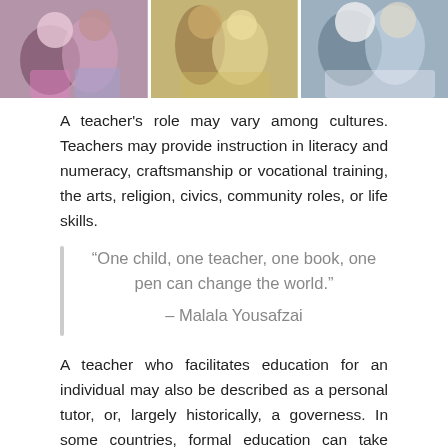[Figure (photo): Three-panel photo strip showing people, likely teachers and students, in educational settings]
A teacher's role may vary among cultures. Teachers may provide instruction in literacy and numeracy, craftsmanship or vocational training, the arts, religion, civics, community roles, or life skills.
“One child, one teacher, one book, one pen can change the world.” – Malala Yousafzai
A teacher who facilitates education for an individual may also be described as a personal tutor, or, largely historically, a governess. In some countries, formal education can take place through home schooling. Informal learning may be assisted by a teacher occupying a transient or ongoing role, such as a family